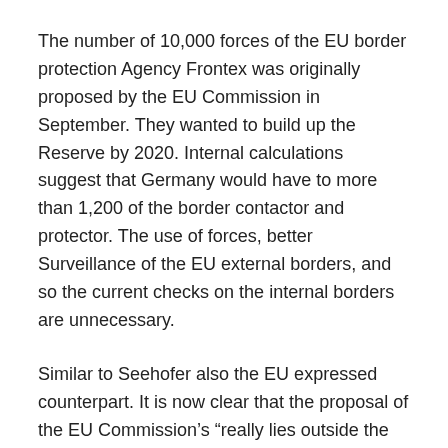The number of 10,000 forces of the EU border protection Agency Frontex was originally proposed by the EU Commission in September. They wanted to build up the Reserve by 2020. Internal calculations suggest that Germany would have to more than 1,200 of the border contactor and protector. The use of forces, better Surveillance of the EU external borders, and so the current checks on the internal borders are unnecessary.
Similar to Seehofer also the EU expressed counterpart. It is now clear that the proposal of the EU Commission's “really lies outside the Dimension of the feasible,” said Austria’s Minister of the interior, Herbert Kickl (FPÖ). The EU should not overburden the member States, the need to make up a large part of the additional border guards ready.
EU Commissioner Dimitris Avramopoulos defended the